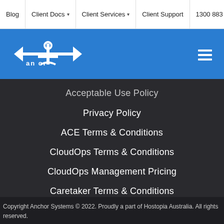Blog | Client Docs | Client Services | Client Support | 1300 883 979
[Figure (logo): Anchor Systems logo on blue header bar with hamburger menu icon]
Acceptable Use Policy
Privacy Policy
ACE Terms & Conditions
CloudOps Terms & Conditions
CloudOps Management Pricing
Caretaker Terms & Conditions
Service Level Agreement
Copyright Anchor Systems © 2022. Proudly a part of Hostopia Australia. All rights reserved.